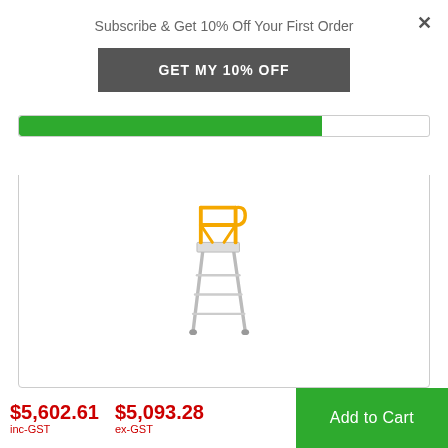Subscribe & Get 10% Off Your First Order
GET MY 10% OFF
[Figure (screenshot): Green progress bar, partially filled (approximately 74%)]
[Figure (photo): Industrial platform ladder/order picker with yellow guard rails and silver aluminium steps, on a white background]
$5,602.61 inc-GST
$5,093.28 ex-GST
Add to Cart